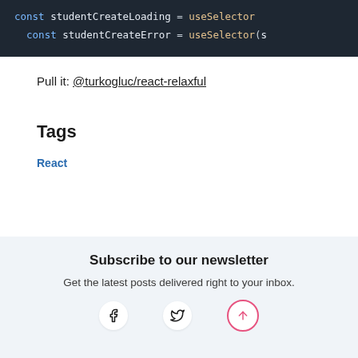[Figure (screenshot): Code block showing JavaScript: const studentCreateLoading = useSelector and const studentCreateError = useSelector(s on dark background]
Pull it: @turkogluc/react-relaxful
Tags
React
Subscribe to our newsletter
Get the latest posts delivered right to your inbox.